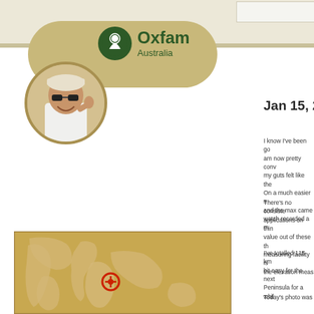[Figure (logo): Oxfam Australia logo with person in circular badge and tan rounded rectangle background]
Jan 15, 201…
I know I've been go… am now pretty conv… my guts felt like the… On a much easier n… and the max came … watch recorded a m…
There's no consiste… applications on thin… value out of these th… measuring facility is… the elevation meas…
I've totalled 115 km… bit easy for the next… Peninsula for a whil…
Today's photo was …
[Figure (map): Sepia world map with a red circle/pin marker on Africa/Middle East region]